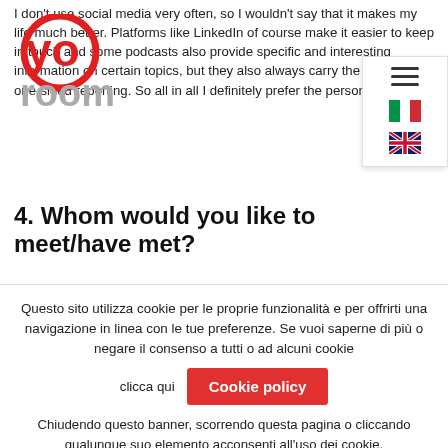I don't use social media very often, so I wouldn't say that it makes my life much better. Platforms like LinkedIn of course make it easier to keep in touch and some podcasts also provide specific and interesting information on certain topics, but they also always carry the risk of a one-sided reporting. So all in all I definitely prefer the personal contact.
[Figure (logo): YoRoom logo: red circle outline with 'yo' in red and 'room' in grey below]
[Figure (screenshot): Navigation menu widget with hamburger icon and Italian and UK flag icons for language selection]
4. Whom would you like to meet/have met?
Questo sito utilizza cookie per le proprie funzionalità e per offrirti una navigazione in linea con le tue preferenze. Se vuoi saperne di più o negare il consenso a tutti o ad alcuni cookie clicca qui  Cookie policy
Chiudendo questo banner, scorrendo questa pagina o cliccando qualunque suo elemento acconsenti all'uso dei cookie.
Accetto